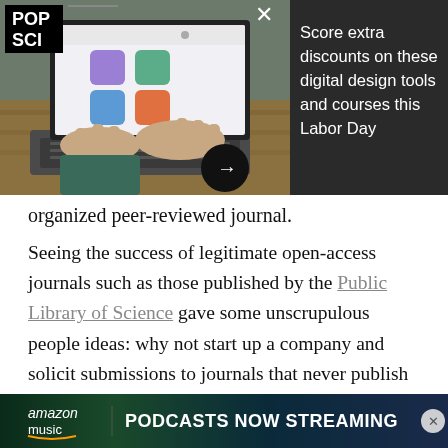[Figure (screenshot): POP SCI advertisement banner showing a person typing on a laptop with a colorful app interface on screen, with text about discounts on digital design tools and courses for Labor Day]
organized peer-reviewed journal.
Seeing the success of legitimate open-access journals such as those published by the Public Library of Science gave some unscrupulous people ideas: why not start up a company and solicit submissions to journals that never publish the articles, or never peer-review the submitted articles, or even one that might peer-review, but charges way more money than what one m...
[Figure (infographic): Amazon Music advertisement banner: 'PODCASTS NOW STREAMING' with Amazon Music logo on a dark gradient background]